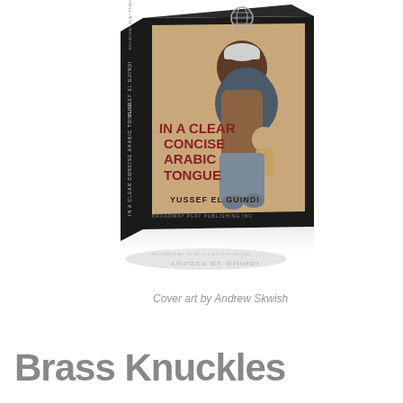[Figure (illustration): 3D rendered book cover for 'In a Clear Concise Arabic Tongue' by Yussef El Guindi, published by Broadway Play Publishing Inc. The book has a black spine and cover with illustrated artwork showing stylized figures of people on a tan/kraft paper background. A reflection of the book is visible below it.]
Cover art by Andrew Skwish
Brass Knuckles